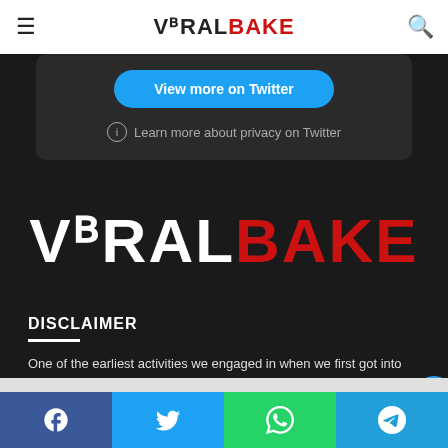VIRALBAKE
[Figure (screenshot): Twitter embed card with 'View more on Twitter' button and privacy notice]
[Figure (logo): VIRALBAKE large logo on dark background — VIRAL in white, BAKE in red]
DISCLAIMER
One of the earliest activities we engaged in when we first got into astronomy is the same one we like to show our children just as
Social share buttons: Facebook, Twitter, WhatsApp, Telegram